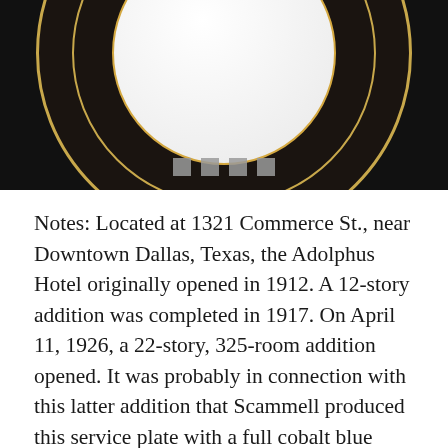[Figure (photo): Close-up photo of a decorative service plate with a cobalt blue and dark border flanked by gold rings, white center, against a black background. Four gray navigation dots are visible at the bottom of the image.]
Notes: Located at 1321 Commerce St., near Downtown Dallas, Texas, the Adolphus Hotel originally opened in 1912. A 12-story addition was completed in 1917. On April 11, 1926, a 22-story, 325-room addition opened. It was probably in connection with this latter addition that Scammell produced this service plate with a full cobalt blue border, flanked by coin gold